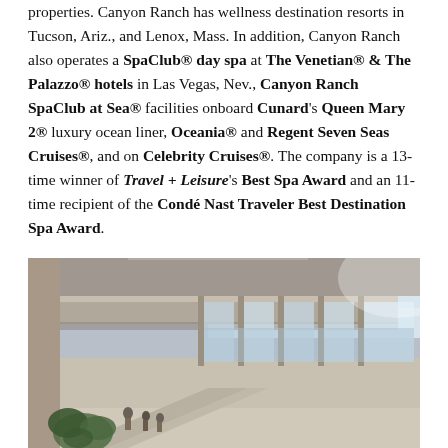properties. Canyon Ranch has wellness destination resorts in Tucson, Ariz., and Lenox, Mass. In addition, Canyon Ranch also operates a SpaClub® day spa at The Venetian® & The Palazzo® hotels in Las Vegas, Nev., Canyon Ranch SpaClub at Sea® facilities onboard Cunard's Queen Mary 2® luxury ocean liner, Oceania® and Regent Seven Seas Cruises®, and on Celebrity Cruises®. The company is a 13-time winner of Travel + Leisure's Best Spa Award and an 11-time recipient of the Condé Nast Traveler Best Destination Spa Award.
[Figure (photo): Architectural rendering of a modern wellness resort interior showing a multi-level atrium with large floor-to-ceiling windows overlooking the ocean, clean lines, natural light, and guests in the lower level near tropical greenery.]